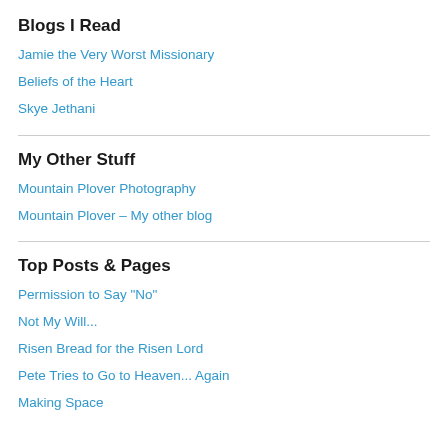Blogs I Read
Jamie the Very Worst Missionary
Beliefs of the Heart
Skye Jethani
My Other Stuff
Mountain Plover Photography
Mountain Plover – My other blog
Top Posts & Pages
Permission to Say "No"
Not My Will...
Risen Bread for the Risen Lord
Pete Tries to Go to Heaven... Again
Making Space